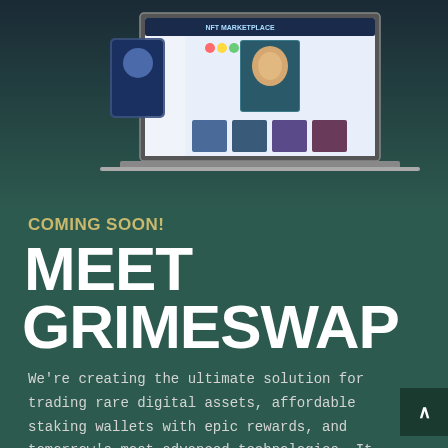[Figure (screenshot): NFT Marketplace website displayed on a laptop screen, showing colorful NFT cards and interface elements]
COMING SOON!
MEET GRIMESWAP
We're creating the ultimate solution for trading rare digital assets, affordable staking wallets with epic rewards, and tomorrow's most advanced technologies. It will soon be possible to create new tokens, games, exchanges, and a lot more.